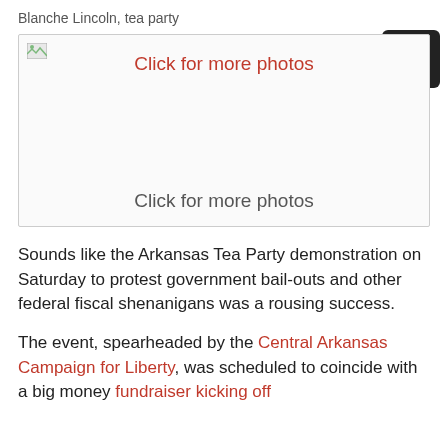Blanche Lincoln, tea party
[Figure (photo): Photo placeholder with 'Click for more photos' label, shown as broken image thumbnail in top-left corner. Red text 'Click for more photos' at top, gray text 'Click for more photos' at bottom.]
Sounds like the Arkansas Tea Party demonstration on Saturday to protest government bail-outs and other federal fiscal shenanigans was a rousing success.
The event, spearheaded by the Central Arkansas Campaign for Liberty, was scheduled to coincide with a big money fundraiser kicking off